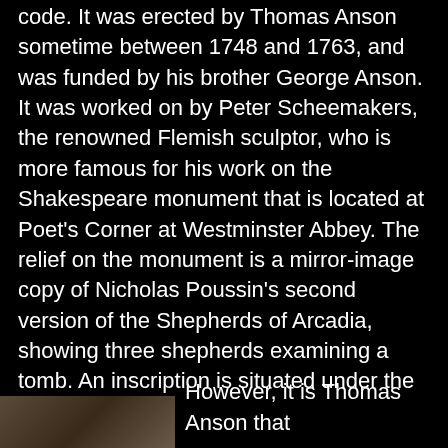code. It was erected by Thomas Anson sometime between 1748 and 1763, and was funded by his brother George Anson. It was worked on by Peter Scheemakers, the renowned Flemish sculptor, who is more famous for his work on the Shakespeare monument that is located at Poet's Corner at Westminster Abbey. The relief on the monument is a mirror-image copy of Nicholas Poussin's second version of the Shepherds of Arcadia, showing three shepherds examining a tomb. An inscription is situated under the relief, revealing O U O S V A V V set above and between the letters D and M. This 'code' has never been solved, and has been discussed in books such as The Holy Blood and the Holy Grail, the monument being referred to in an almost pseudo-Masonic context. Various Latin phrases have been attributed to the mysterious letters, but, according to the staff at the Hall, they 'get five or six people a week who believe they have solved the code...'
However, it is Thomas Anson that